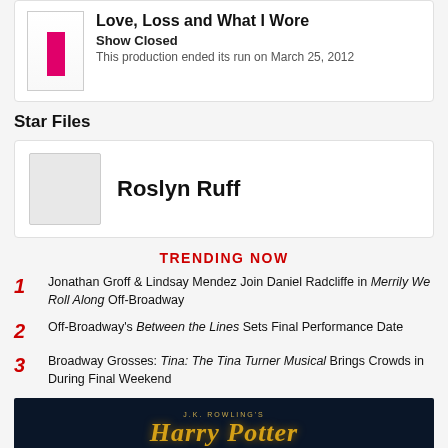Love, Loss and What I Wore
Show Closed
This production ended its run on March 25, 2012
Star Files
Roslyn Ruff
TRENDING NOW
Jonathan Groff & Lindsay Mendez Join Daniel Radcliffe in Merrily We Roll Along Off-Broadway
Off-Broadway's Between the Lines Sets Final Performance Date
Broadway Grosses: Tina: The Tina Turner Musical Brings Crowds in During Final Weekend
[Figure (illustration): Harry Potter logo/banner: dark navy background with J.K. Rowling's Harry Potter title in gold italic serif font]